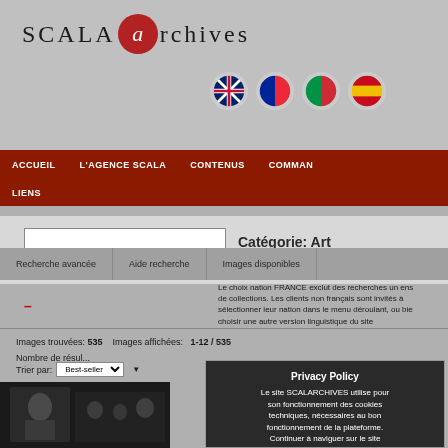[Figure (screenshot): Scala Archives website header with logo text 'SCALA archives' with a red circle 'a', and UK, French, Italian, Spanish flag icons]
ACCUEIL  L'AGENCE SCALA  CONTENUS  COMMAN  LIENS
Catégorie: Art
Recherche avancée  Aide recherche  Images disponibles
Le choix nation FRANCE exclut des recherches un ensemble de collections. Les clients non français sont invités à sélectionner leur nation dans le menu déroulant, ou bien choisir une autre version linguistique du site
Images trouvées: 535    Images affichées:   1-12 / 535
Nombre de résultats
Trier par: Best-seller  Page 1 · 2 · 3 · 4 · 5
[Figure (photo): Black and white photograph thumbnail showing a person]
Privacy Policy
Le site SCALARCHIVES utilise pour son fonctionnement des cookies techniques, nécessaires au bon fonctionnement de la plateforme. Continuer à naviguer sur le site implique l'acceptation de ces cookies. Grâce au site sont également installés